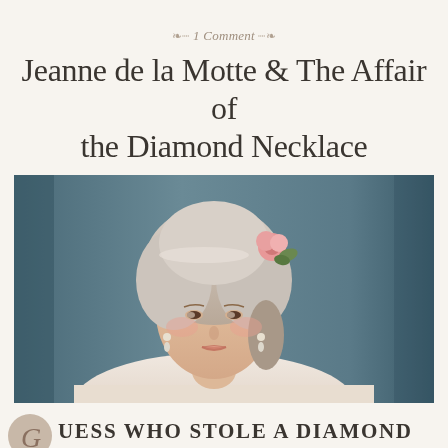~ 1 Comment ~
Jeanne de la Motte & The Affair of the Diamond Necklace
[Figure (photo): 18th-century portrait painting of a woman with powdered white hair adorned with a pink rose, pearl drop earrings, wearing a white dress, painted in a classical French style against a blue-grey background. Believed to be Jeanne de la Motte.]
GUESS WHO STOLE A DIAMOND